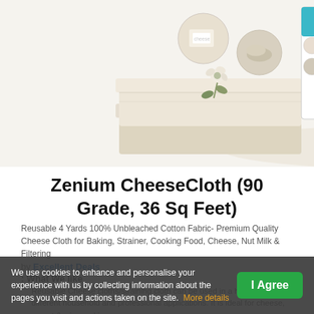[Figure (photo): Product photo of Zenium CheeseCloth folded fabric with packaging showing cheese cloth label, 4 yards 36 sq feet, alongside circular inset images of food and cheese-making]
Zenium CheeseCloth (90 Grade, 36 Sq Feet)
Reusable 4 Yards 100% Unbleached Cotton Fabric- Premium Quality Cheese Cloth for Baking, Strainer, Cooking Food, Cheese, Nut Milk & Filtering
by Excellent Deals
What We like
Reusable Cheese cloths/straining cloth can be used in a huge number of different household and professional applications. It is ideal for cheese, yogurt & wine making
We use cookies to enhance and personalise your experience with us by collecting information about the pages you visit and actions taken on the site. More details
I Agree